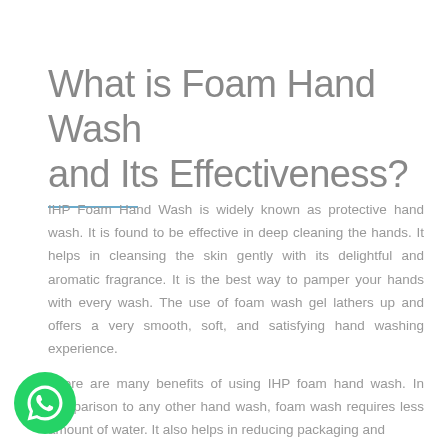What is Foam Hand Wash and Its Effectiveness?
IHP Foam Hand Wash is widely known as protective hand wash. It is found to be effective in deep cleaning the hands. It helps in cleansing the skin gently with its delightful and aromatic fragrance. It is the best way to pamper your hands with every wash. The use of foam wash gel lathers up and offers a very smooth, soft, and satisfying hand washing experience.
There are many benefits of using IHP foam hand wash. In comparison to any other hand wash, foam wash requires less amount of water. It also helps in reducing packaging and
[Figure (logo): WhatsApp green circular icon with white phone handset]